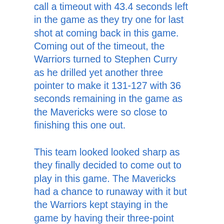call a timeout with 43.4 seconds left in the game as they try one for last shot at coming back in this game. Coming out of the timeout, the Warriors turned to Stephen Curry as he drilled yet another three pointer to make it 131-127 with 36 seconds remaining in the game as the Mavericks were so close to finishing this one out.
This team looked looked sharp as they finally decided to come out to play in this game. The Mavericks had a chance to runaway with it but the Warriors kept staying in the game by having their three-point shooting working for them. So many three pointers were taken this game but most of them came from Stephen Curry as he had a monster game. This was a nail biter until the very final second.
In the end, it was the Dallas Mavericks defeating the Golden State Warriors 134-132 as they split their two game series 1-1. The Mavericks record would improve to 10-14 on the season. Luka Doncic finished with a career-high tying 42 points while also recording 11 assists in the nail biting victory. The Warriors were led by Stephen Curry as he finished with 57 points (the most scored in a loss in his career). Both superstars came out to